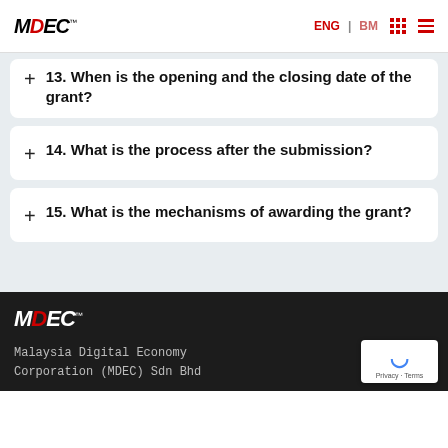MDEC | ENG | BM
+ 13. When is the opening and the closing date of the grant?
+ 14. What is the process after the submission?
+ 15. What is the mechanisms of awarding the grant?
MDEC™ Malaysia Digital Economy Corporation (MDEC) Sdn Bhd